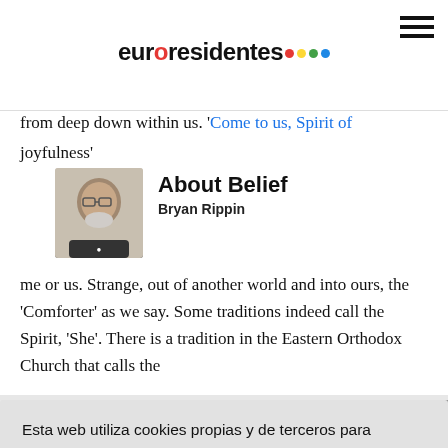euroresidentes
from deep down within us. 'Come to us, Spirit of joyfulness'
[Figure (photo): Portrait photo of Bryan Rippin, an older man with glasses and a white beard]
About Belief
Bryan Rippin
me or us. Strange, out of another world and into ours, the 'Comforter' as we say. Some traditions indeed call the Spirit, 'She'. There is a tradition in the Eastern Orthodox Church that calls the
Esta web utiliza cookies propias y de terceros para mejorar su experiencia de navegación y realizar tareas de analítica.  Más información
Acepto
ord for uces. so that ntinúa as her.
She (he) reminding us of who we are and what we are for